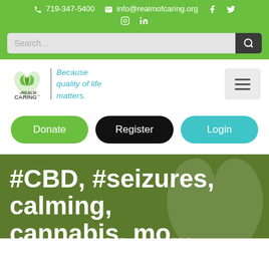719-347-5400  info@realmofcaring.org  Facebook  Twitter  Instagram  LinkedIn
[Figure (screenshot): Search bar with magnifier icon on green background]
[Figure (logo): Realm of Caring logo with tagline 'Because quality of life matters.' and hamburger menu icon]
[Figure (infographic): Three buttons: Donate (green), Register (black), Login (teal)]
#CBD, #seizures, calming, cannabis, mo...